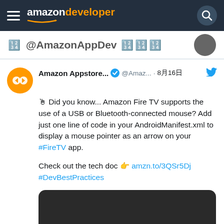amazon developer
🔢 @AmazonAppDev 🔢🔢🔢
Amazon Appstore... ✔ @Amaz... · 8月16日
🖱 Did you know... Amazon Fire TV supports the use of a USB or Bluetooth-connected mouse? Add just one line of code in your AndroidManifest.xml to display a mouse pointer as an arrow on your #FireTV app.

Check out the tech doc 👉 amzn.to/3QSr5Dj
#DevBestPractices
[Figure (screenshot): Dark/black image area at bottom of tweet card]